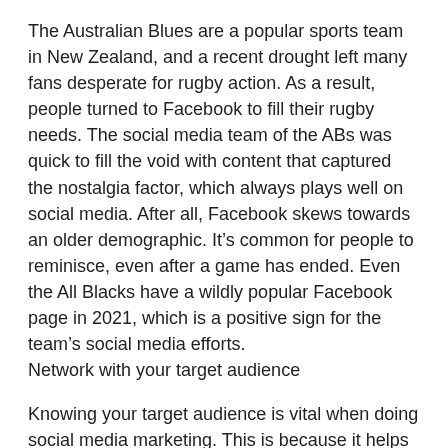The Australian Blues are a popular sports team in New Zealand, and a recent drought left many fans desperate for rugby action. As a result, people turned to Facebook to fill their rugby needs. The social media team of the ABs was quick to fill the void with content that captured the nostalgia factor, which always plays well on social media. After all, Facebook skews towards an older demographic. It’s common for people to reminisce, even after a game has ended. Even the All Blacks have a wildly popular Facebook page in 2021, which is a positive sign for the team’s social media efforts.
Network with your target audience
Knowing your target audience is vital when doing social media marketing. This is because it helps you determine which geographic areas to target and what time zone to be in. It also allows you to determine the language of the audience, which is important if you want to be seen by